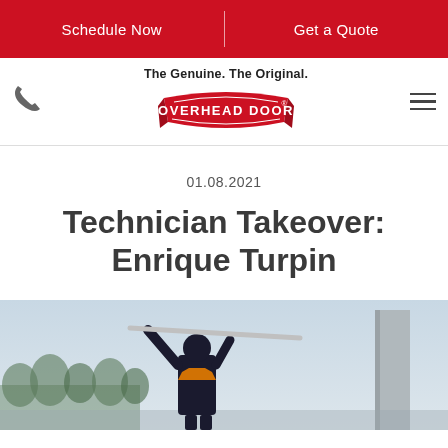Schedule Now | Get a Quote
[Figure (logo): Overhead Door logo with tagline 'The Genuine. The Original.' and phone icon and hamburger menu]
01.08.2021
Technician Takeover: Enrique Turpin
[Figure (photo): A technician in dark clothing and orange vest working on a garage door outdoors]